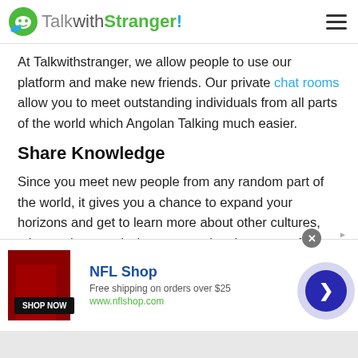TalkwithStranger!
At Talkwithstranger, we allow people to use our platform and make new friends. Our private chat rooms allow you to meet outstanding individuals from all parts of the world which Angolan Talking much easier.
Share Knowledge
Since you meet new people from any random part of the world, it gives you a chance to expand your horizons and get to learn more about other cultures, other regions, and what goes on in other parts of the world.
[Figure (screenshot): NFL Shop advertisement banner with dark red jersey image, shop now button, NFL Shop title, free shipping text, and www.nflshop.com URL]